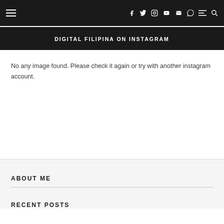Navigation bar with hamburger menu, social icons (Facebook, Twitter, Instagram, YouTube, Email, Viber), menu icon, and search icon
DIGITAL FILIPINA ON INSTAGRAM
No any image found. Please check it again or try with another instagram account.
ABOUT ME
RECENT POSTS